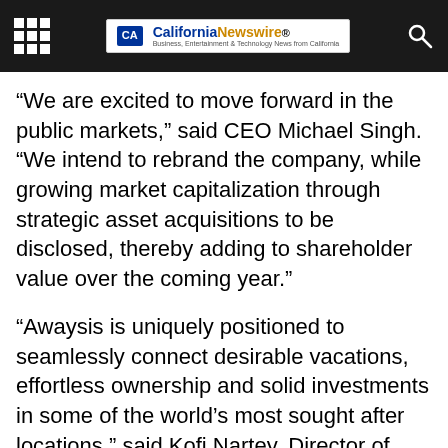California Newswire® Business, Entertainment & Technology News from California
“We are excited to move forward in the public markets,” said CEO Michael Singh. “We intend to rebrand the company, while growing market capitalization through strategic asset acquisitions to be disclosed, thereby adding to shareholder value over the coming year.”
“Awaysis is uniquely positioned to seamlessly connect desirable vacations, effortless ownership and solid investments in some of the world’s most sought after locations,” said Kofi Nartey, Director of Real Estate Development & Sales.
JV Group Inc has filed the necessary control